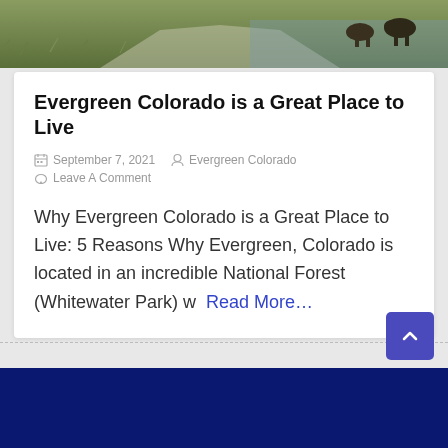[Figure (photo): Partial photo at top of page showing grass, a path, water, and what appears to be bison or cattle in a natural outdoor setting]
Evergreen Colorado is a Great Place to Live
September 7, 2021   Evergreen Colorado
Leave A Comment
Why Evergreen Colorado is a Great Place to Live: 5 Reasons Why Evergreen, Colorado is located in an incredible National Forest (Whitewater Park) w  Read More…
[Figure (screenshot): Dark navy blue footer bar at the bottom of the webpage, partially visible]
[Figure (other): Purple scroll-to-top button with upward chevron arrow, positioned at bottom right]